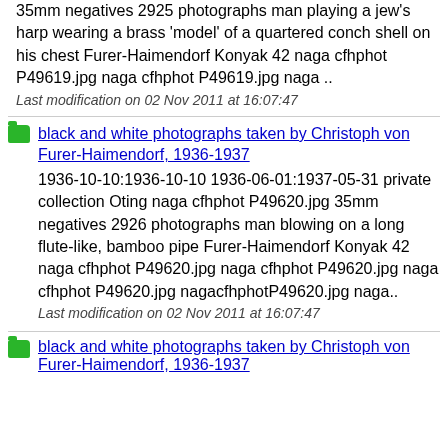35mm negatives 2925 photographs man playing a jew's harp wearing a brass 'model' of a quartered conch shell on his chest Furer-Haimendorf Konyak 42 naga cfhphot P49619.jpg naga cfhphot P49619.jpg naga ..
Last modification on 02 Nov 2011 at 16:07:47
black and white photographs taken by Christoph von Furer-Haimendorf, 1936-1937
1936-10-10:1936-10-10 1936-06-01:1937-05-31 private collection Oting naga cfhphot P49620.jpg 35mm negatives 2926 photographs man blowing on a long flute-like, bamboo pipe Furer-Haimendorf Konyak 42 naga cfhphot P49620.jpg naga cfhphot P49620.jpg naga cfhphot P49620.jpg nagacfhphotP49620.jpg naga..
Last modification on 02 Nov 2011 at 16:07:47
black and white photographs taken by Christoph von Furer-Haimendorf, 1936-1937